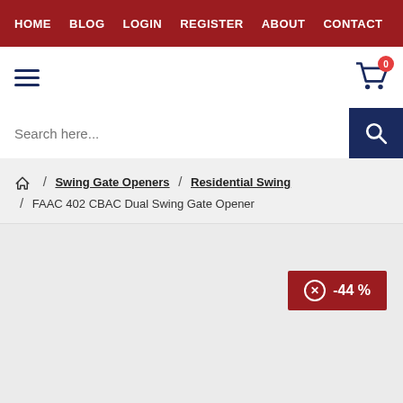HOME BLOG LOGIN REGISTER ABOUT CONTACT
[Figure (screenshot): Website header with hamburger menu on the left and shopping cart icon with badge showing 0 on the right]
[Figure (screenshot): Search bar with placeholder text 'Search here...' and a blue search button with magnifying glass icon]
Home / Swing Gate Openers / Residential Swing / FAAC 402 CBAC Dual Swing Gate Opener
-44 %
This website uses cookies to ensure you get the best experience on our website. Privacy Policy
I ACCEPT